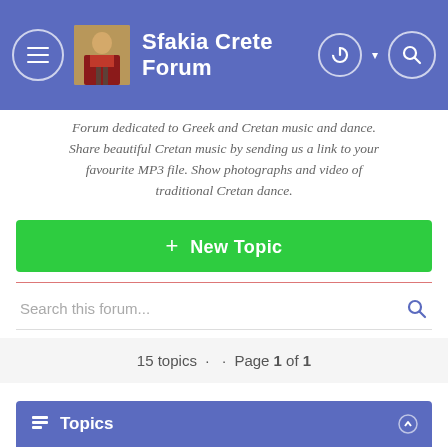Sfakia Crete Forum
Forum dedicated to Greek and Cretan music and dance. Share beautiful Cretan music by sending us a link to your favourite MP3 file. Show photographs and video of traditional Cretan dance.
+ New Topic
Search this forum...
15 topics · · Page 1 of 1
Topics
The old Greek and Cretan Music and Dance forum is still here
by Erno » 11 Nov 2015, 23:59